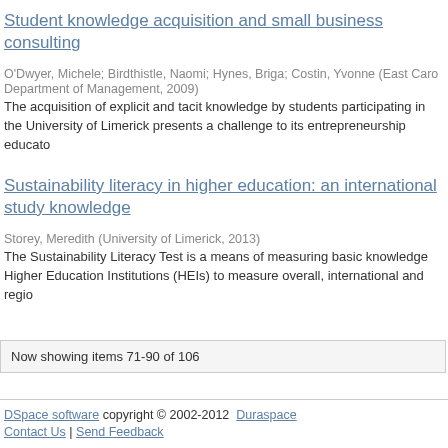Student knowledge acquisition and small business consulting
O'Dwyer, Michele; Birdthistle, Naomi; Hynes, Briga; Costin, Yvonne (East Caro Department of Management, 2009)
The acquisition of explicit and tacit knowledge by students participating in the University of Limerick presents a challenge to its entrepreneurship educato
Sustainability literacy in higher education: an international study knowledge
Storey, Meredith (University of Limerick, 2013)
The Sustainability Literacy Test is a means of measuring basic knowledge Higher Education Institutions (HEIs) to measure overall, international and regio
Now showing items 71-90 of 106
DSpace software copyright © 2002-2012  Duraspace Contact Us | Send Feedback